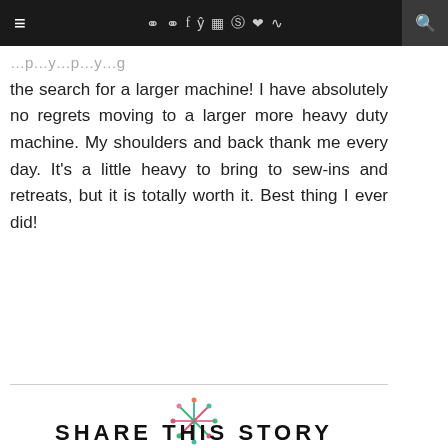≡  [social icons]  🔍
the search for a larger machine! I have absolutely no regrets moving to a larger more heavy duty machine. My shoulders and back thank me every day. It's a little heavy to bring to sew-ins and retreats, but it is totally worth it. Best thing I ever did!
[Figure (illustration): Decorative snowflake/asterisk illustration in pink, green, and teal colors]
SHARE THIS STORY
[Figure (illustration): Decorative snowflake/asterisk illustration in pink, green, and teal colors]